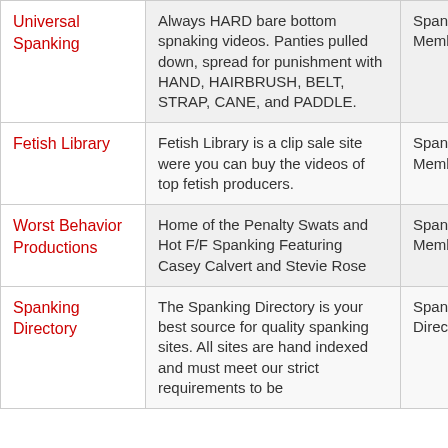| Site | Description | Network |
| --- | --- | --- |
| Universal Spanking | Always HARD bare bottom spnaking videos. Panties pulled down, spread for punishment with HAND, HAIRBRUSH, BELT, STRAP, CANE, and PADDLE. | Spanking Members |
| Fetish Library | Fetish Library is a clip sale site were you can buy the videos of top fetish producers. | Spanking Members |
| Worst Behavior Productions | Home of the Penalty Swats and Hot F/F Spanking Featuring Casey Calvert and Stevie Rose | Spanking Members |
| Spanking Directory | The Spanking Directory is your best source for quality spanking sites. All sites are hand indexed and must meet our strict requirements to be | Spanking Directory |